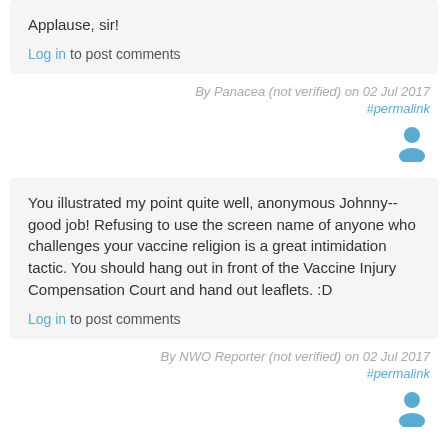Applause, sir!
Log in to post comments
By Panacea (not verified) on 02 Jul 2017
#permalink
You illustrated my point quite well, anonymous Johnny--good job! Refusing to use the screen name of anyone who challenges your vaccine religion is a great intimidation tactic. You should hang out in front of the Vaccine Injury Compensation Court and hand out leaflets. :D
Log in to post comments
By NWO Reporter (not verified) on 02 Jul 2017
#permalink